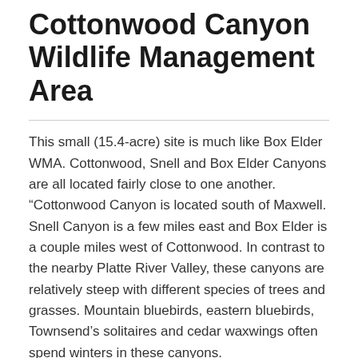Cottonwood Canyon Wildlife Management Area
This small (15.4-acre) site is much like Box Elder WMA. Cottonwood, Snell and Box Elder Canyons are all located fairly close to one another. “Cottonwood Canyon is located south of Maxwell. Snell Canyon is a few miles east and Box Elder is a couple miles west of Cottonwood. In contrast to the nearby Platte River Valley, these canyons are relatively steep with different species of trees and grasses. Mountain bluebirds, eastern bluebirds, Townsend’s solitaires and cedar waxwings often spend winters in these canyons.
There are small, man-made lakes near the mouth of each canyon. The lake at the mouth of Snell Canyon is good for migrating shorebirds. is privately owned, but a county road runs along the entire east edge of the lake. All 3 canyons are home to black-headed grosbeaks, Say’s phoebes and rock wrens (which nest in some of the steep-cut dirt banks) in summer, along with